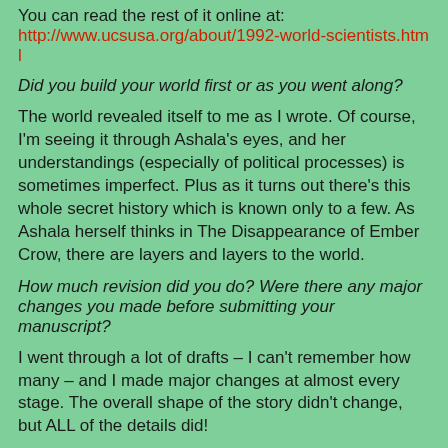You can read the rest of it online at:
http://www.ucsusa.org/about/1992-world-scientists.html
Did you build your world first or as you went along?
The world revealed itself to me as I wrote. Of course, I'm seeing it through Ashala's eyes, and her understandings (especially of political processes) is sometimes imperfect. Plus as it turns out there's this whole secret history which is known only to a few. As Ashala herself thinks in The Disappearance of Ember Crow, there are layers and layers to the world.
How much revision did you do? Were there any major changes you made before submitting your manuscript?
I went through a lot of drafts – I can't remember how many – and I made major changes at almost every stage. The overall shape of the story didn't change, but ALL of the details did!
Do you have any favourite stories? Tell us about them!